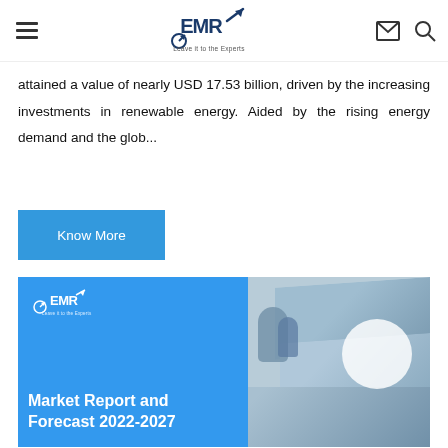EMR — Leave it to the Experts
attained a value of nearly USD 17.53 billion, driven by the increasing investments in renewable energy. Aided by the rising energy demand and the glob...
Know More
[Figure (other): EMR Market Report and Forecast 2022-2027 cover image with collage of industrial/scientific photos on right side and blue left panel with EMR logo and text]